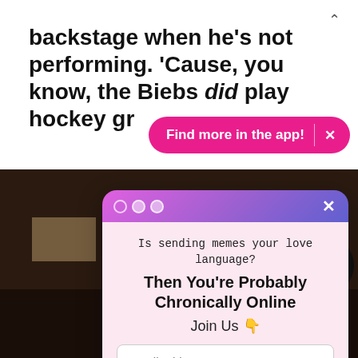backstage when he's not performing. 'Cause, you know, the Biebs did play hockey gr
[Figure (screenshot): Pink app banner with 'Find more in the app!' text and X close button]
[Figure (photo): Dark indoor photo showing a room with warm lighting and camera equipment visible]
[Figure (screenshot): Modal popup with gradient purple/pink header, dots and X, content area in light pink with email signup form. Title: 'Is sending memes your love language? Then You're Probably Chronically Online Join Us' with email address field, Sign Me Up! button, and No Thanks link]
Friends Ke
[Figure (other): Facebook and Pinterest social share buttons (circular icons)]